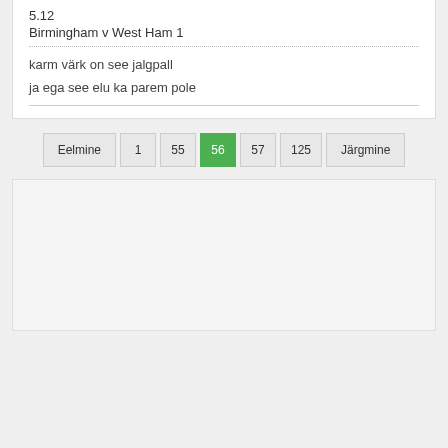5.12
Birmingham v West Ham 1
karm värk on see jalgpall
ja ega see elu ka parem pole
Eelmine  1  55  56  57  125  Järgmine